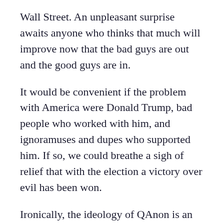Wall Street. An unpleasant surprise awaits anyone who thinks that much will improve now that the bad guys are out and the good guys are in.
It would be convenient if the problem with America were Donald Trump, bad people who worked with him, and ignoramuses and dupes who supported him. If so, we could breathe a sigh of relief that with the election a victory over evil has been won.
Ironically, the ideology of QAnon is an exaggerated version of this same basic thoughtform. It says that a group of diabolical people are responsible for the evil in the world, and that if they